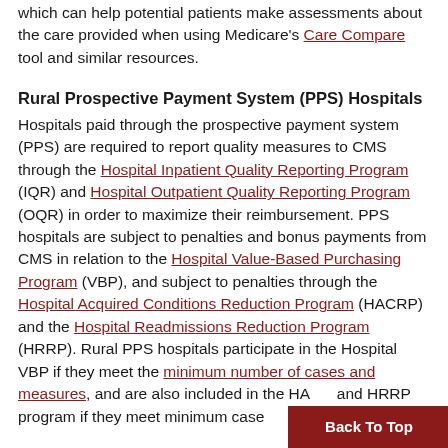which can help potential patients make assessments about the care provided when using Medicare's Care Compare tool and similar resources.
Rural Prospective Payment System (PPS) Hospitals
Hospitals paid through the prospective payment system (PPS) are required to report quality measures to CMS through the Hospital Inpatient Quality Reporting Program (IQR) and Hospital Outpatient Quality Reporting Program (OQR) in order to maximize their reimbursement. PPS hospitals are subject to penalties and bonus payments from CMS in relation to the Hospital Value-Based Purchasing Program (VBP), and subject to penalties through the Hospital Acquired Conditions Reduction Program (HACRP) and the Hospital Readmissions Reduction Program (HRRP). Rural PPS hospitals participate in the Hospital VBP if they meet the minimum number of cases and measures, and are also included in the HACRP and HRRP program if they meet minimum case...